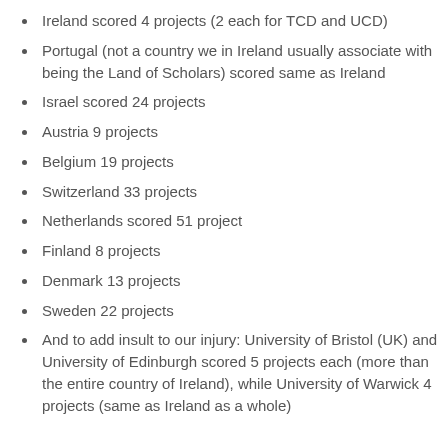Ireland scored 4 projects (2 each for TCD and UCD)
Portugal (not a country we in Ireland usually associate with being the Land of Scholars) scored same as Ireland
Israel scored 24 projects
Austria 9 projects
Belgium 19 projects
Switzerland 33 projects
Netherlands scored 51 project
Finland 8 projects
Denmark 13 projects
Sweden 22 projects
And to add insult to our injury: University of Bristol (UK) and University of Edinburgh scored 5 projects each (more than the entire country of Ireland), while University of Warwick 4 projects (same as Ireland as a whole)